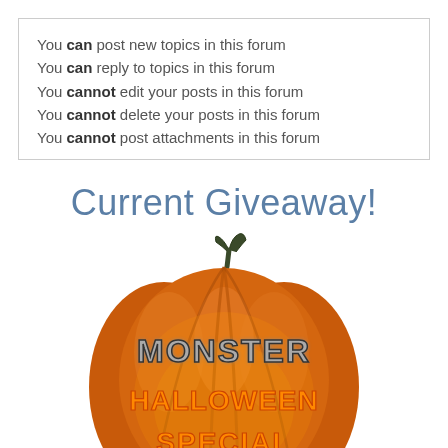You can post new topics in this forum
You can reply to topics in this forum
You cannot edit your posts in this forum
You cannot delete your posts in this forum
You cannot post attachments in this forum
Current Giveaway!
[Figure (illustration): A large orange Halloween pumpkin with a dark stem, carved with glowing text reading MONSTER HALLOWEEN SPECIAL in stylized metallic and orange-glow lettering]